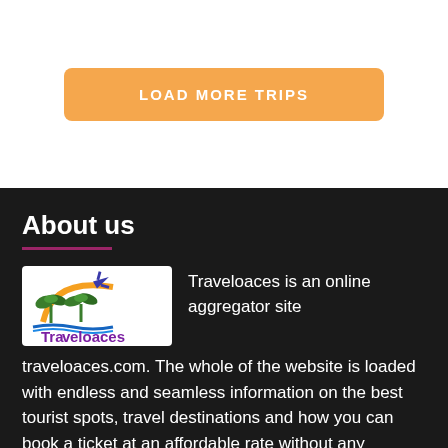LOAD MORE TRIPS
About us
[Figure (logo): Traveloaces logo with palm trees, sunset arc, and airplane]
Traveloaces is an online aggregator site traveloaces.com. The whole of the website is loaded with endless and seamless information on the best tourist spots, travel destinations and how you can book a ticket at an affordable rate without any problem. Our aim is to share all the details related to